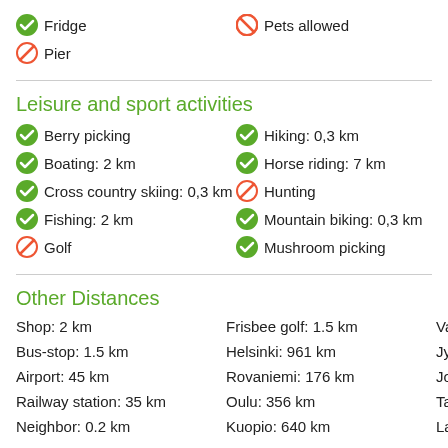Fridge
Gas
Pets allowed
Pier
Leisure and sport activities
Berry picking
Boating: 2 km
Cross country skiing: 0,3 km
Fishing: 2 km
Golf
Hiking: 0,3 km
Horse riding: 7 km
Hunting
Mountain biking: 0,3 km
Mushroom picking
Other Distances
Shop: 2 km
Bus-stop: 1.5 km
Airport: 45 km
Railway station: 35 km
Neighbor: 0.2 km
Frisbee golf: 1.5 km
Helsinki: 961 km
Rovaniemi: 176 km
Oulu: 356 km
Kuopio: 640 km